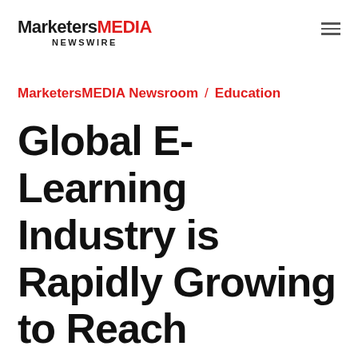MarketersMEDIA NEWSWIRE
MarketersMEDIA Newsroom / Education
Global E-Learning Industry is Rapidly Growing to Reach $398.15 Billion Mark